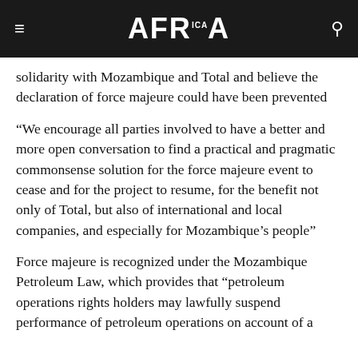AFRICA
solidarity with Mozambique and Total and believe the declaration of force majeure could have been prevented
“We encourage all parties involved to have a better and more open conversation to find a practical and pragmatic commonsense solution for the force majeure event to cease and for the project to resume, for the benefit not only of Total, but also of international and local companies, and especially for Mozambique’s people”
Force majeure is recognized under the Mozambique Petroleum Law, which provides that “petroleum operations rights holders may lawfully suspend performance of petroleum operations on account of a